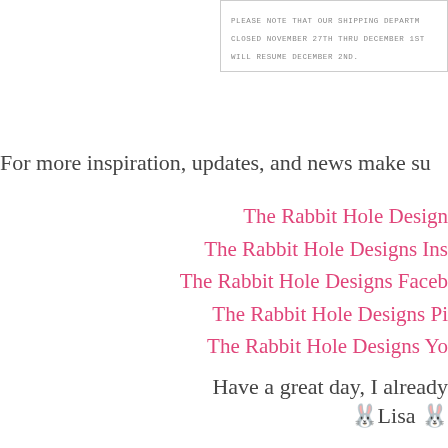PLEASE NOTE THAT OUR SHIPPING DEPARTM... CLOSED NOVEMBER 27TH THRU DECEMBER 1ST... WILL RESUME DECEMBER 2ND.
For more inspiration, updates, and news make su
The Rabbit Hole Design
The Rabbit Hole Designs Ins
The Rabbit Hole Designs Faceb
The Rabbit Hole Designs Pi
The Rabbit Hole Designs Yo
Have a great day, I already
🐰Lisa 🐰